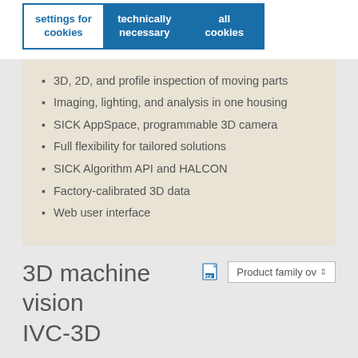[Figure (screenshot): Three cookie consent buttons: 'settings for cookies' (blue outline), 'technically necessary' (blue filled), 'all cookies' (blue filled)]
3D, 2D, and profile inspection of moving parts
Imaging, lighting, and analysis in one housing
SICK AppSpace, programmable 3D camera
Full flexibility for tailored solutions
SICK Algorithm API and HALCON
Factory-calibrated 3D data
Web user interface
3D machine vision
IVC-3D
[Figure (screenshot): PDF icon and 'Product family ov' dropdown button]